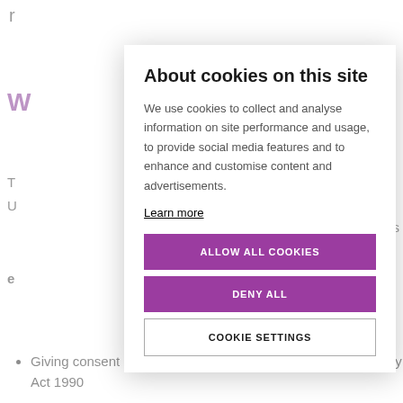About cookies on this site
We use cookies to collect and analyse information on site performance and usage, to provide social media features and to enhance and customise content and advertisements.
Learn more
ALLOW ALL COOKIES
DENY ALL
COOKIE SETTINGS
Giving consent under the Human Fertilisation and Embryology Act 1990